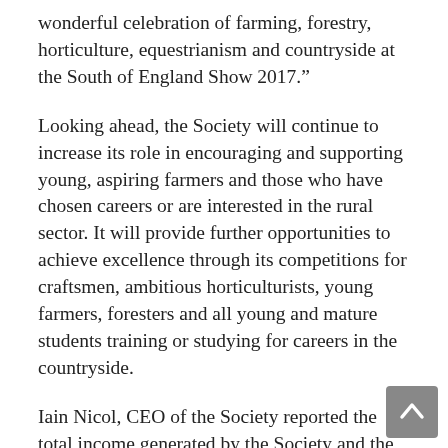wonderful celebration of farming, forestry, horticulture, equestrianism and countryside at the South of England Show 2017."
Looking ahead, the Society will continue to increase its role in encouraging and supporting young, aspiring farmers and those who have chosen careers or are interested in the rural sector. It will provide further opportunities to achieve excellence through its competitions for craftsmen, ambitious horticulturists, young farmers, foresters and all young and mature students training or studying for careers in the countryside.
Iain Nicol, CEO of the Society reported the total income generated by the Society and the Event Centre in 2017 was up by 8% compared to the